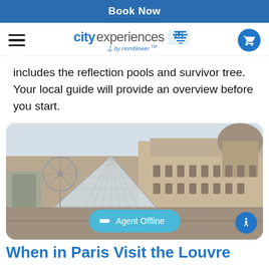Book Now
[Figure (logo): City Experiences by Hornblower logo with flag icon and shopping cart button]
includes the reflection pools and survivor tree. Your local guide will provide an overview before you start.
[Figure (photo): Photo of the Louvre Museum in Paris, showing the glass pyramid in the foreground and the classical palace building behind it, with crowds of visitors and a Ferris wheel visible in the background.]
When in Paris Visit the Louvre